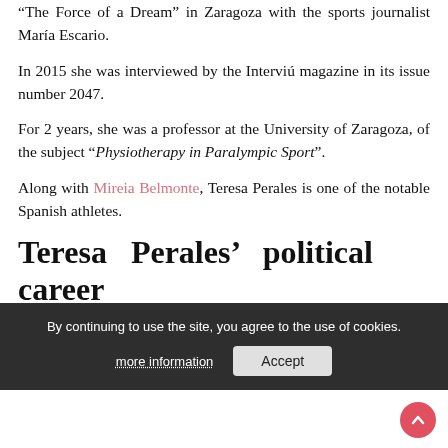“The Force of a Dream” in Zaragoza with the sports journalist María Escario.
In 2015 she was interviewed by the Interviú magazine in its issue number 2047.
For 2 years, she was a professor at the University of Zaragoza, of the subject “Physiotherapy in Paralympic Sport”.
Along with Mireia Belmonte, Teresa Perales is one of the notable Spanish athletes.
Teresa Perales’ political career
Teresa Perales was too attractive a jewel and no political